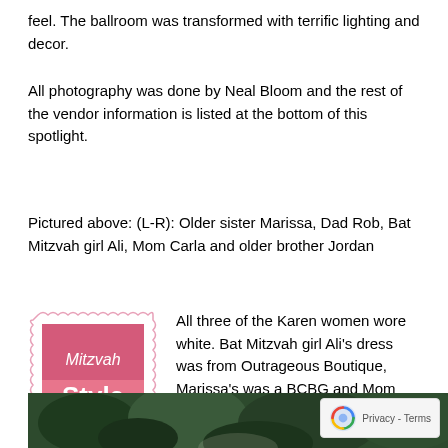feel. The ballroom was transformed with terrific lighting and decor.
All photography was done by Neal Bloom and the rest of the vendor information is listed at the bottom of this spotlight.
Pictured above: (L-R): Older sister Marissa, Dad Rob, Bat Mitzvah girl Ali, Mom Carla and older brother Jordan
[Figure (logo): Mitzvah Style logo — pink postage stamp design with 'Mitzvah Style' text in pink and bold black]
All three of the Karen women wore white. Bat Mitzvah girl Ali's dress was from Outrageous Boutique, Marissa's was a BCBG and Mom Carla bought her long gown from Melony Mazzeo in East Williston, New York.
[Figure (photo): Partial photo of people outdoors with dark green foliage background, bottom of page]